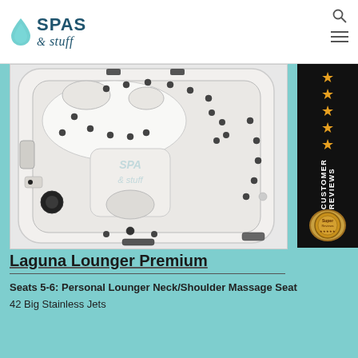Spas & stuff
[Figure (photo): Top-down aerial view of a white Laguna Lounger Premium hot tub/spa with multiple black jets, a personal lounger seat, neck/shoulder massage seat area, control panels, and handles visible. The spa has a cream/white acrylic shell with numerous jet placements throughout.]
[Figure (other): Vertical black side banner showing 'CUSTOMER REVIEWS' text rotated 90 degrees with 5 orange/gold stars and a circular badge at the bottom]
Laguna Lounger Premium
Seats 5-6: Personal Lounger Neck/Shoulder Massage Seat
42 Big Stainless Jets